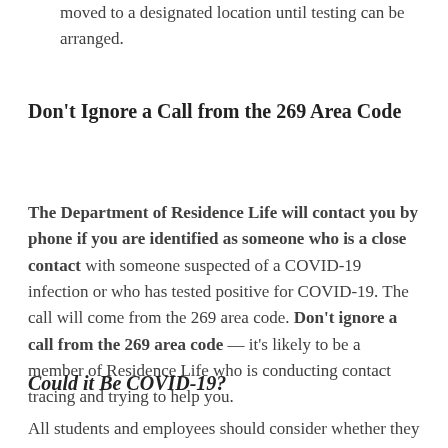moved to a designated location until testing can be arranged.
Don't Ignore a Call from the 269 Area Code
The Department of Residence Life will contact you by phone if you are identified as someone who is a close contact with someone suspected of a COVID-19 infection or who has tested positive for COVID-19. The call will come from the 269 area code. Don't ignore a call from the 269 area code — it's likely to be a member of Residence Life who is conducting contact tracing and trying to help you.
Could it Be COVID-19?
All students and employees should consider whether they are experiencing any of the following COVID-19